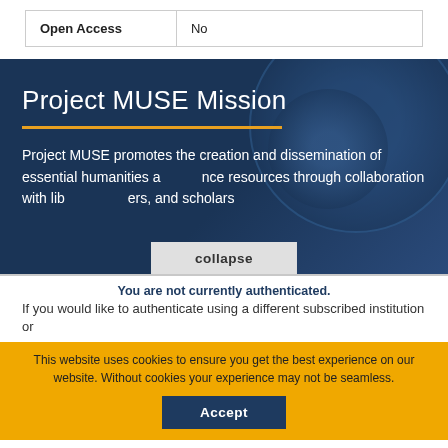| Open Access | No |
Project MUSE Mission
Project MUSE promotes the creation and dissemination of essential humanities and social science resources through collaboration with lib... ers, and scholars
collapse
You are not currently authenticated.
If you would like to authenticate using a different subscribed institution or
This website uses cookies to ensure you get the best experience on our website. Without cookies your experience may not be seamless.
Accept